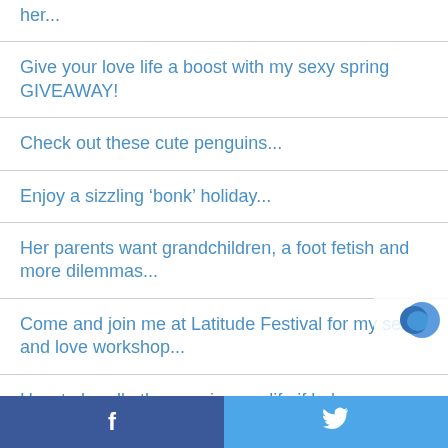her...
Give your love life a boost with my sexy spring GIVEAWAY!
Check out these cute penguins...
Enjoy a sizzling ‘bonk’ holiday...
Her parents want grandchildren, a foot fetish and more dilemmas...
Come and join me at Latitude Festival for my sex and love workshop...
How to handle the man in your life if he's emotionally distant